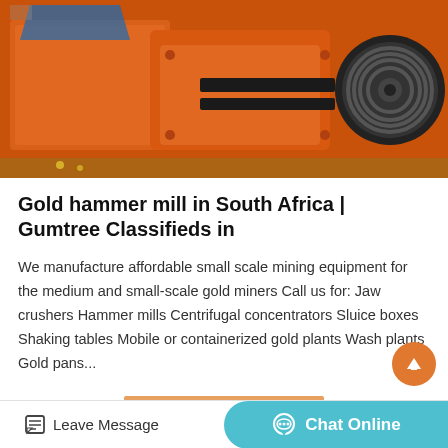[Figure (photo): Orange industrial jaw crusher / hammer mill mining equipment with black pulley wheel, photographed outdoors]
Gold hammer mill in South Africa | Gumtree Classifieds in
We manufacture affordable small scale mining equipment for the medium and small-scale gold miners Call us for: Jaw crushers Hammer mills Centrifugal concentrators Sluice boxes Shaking tables Mobile or containerized gold plants Wash plants Gold pans...
[Figure (other): Get Price button - orange rectangular button]
[Figure (photo): Partial view of mining equipment photo at bottom of page]
Leave Message   Chat Online